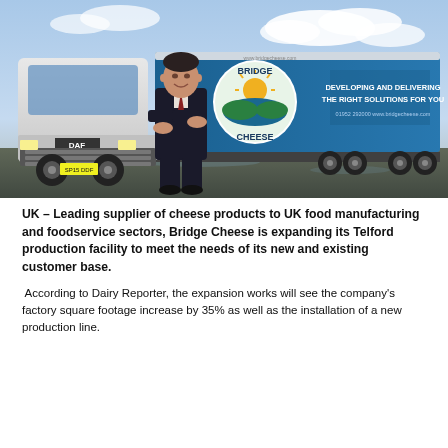[Figure (photo): A man in a dark suit standing with arms crossed in front of a large white DAF truck with 'Bridge Cheese' branding on the trailer. The trailer reads 'DEVELOPING AND DELIVERING THE RIGHT SOLUTIONS FOR YOU'. The setting is an outdoor parking/yard area under a partly cloudy sky.]
UK – Leading supplier of cheese products to UK food manufacturing and foodservice sectors, Bridge Cheese is expanding its Telford production facility to meet the needs of its new and existing customer base.
According to Dairy Reporter, the expansion works will see the company's factory square footage increase by 35% as well as the installation of a new production line.